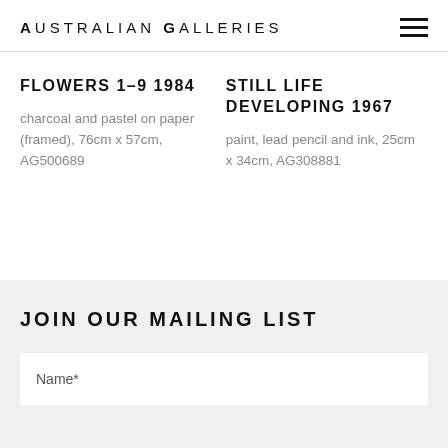Australian Galleries
FLOWERS 1-9 1984
charcoal and pastel on paper (framed), 76cm x 57cm, AG500689
STILL LIFE DEVELOPING 1967
paint, lead pencil and ink, 25cm x 34cm, AG308881
JOIN OUR MAILING LIST
Name*